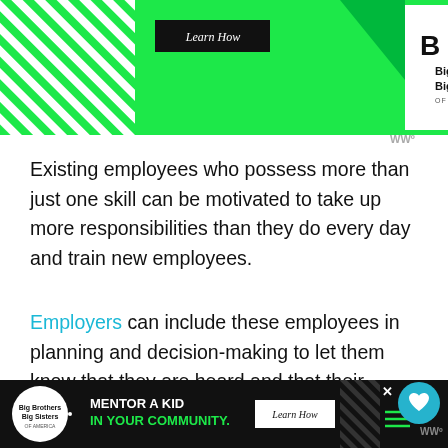[Figure (illustration): Advertisement banner at top: green background with Big Brothers Big Sisters of America logo and Learn How button, with diagonal striped pattern on left side and Wired logo top right]
Existing employees who possess more than just one skill can be motivated to take up more responsibilities than they do every day and train new employees.
Employers can include these employees in planning and decision-making to let them know that they are heard and that their opinion also counts in the company.
This can be an added advantage for workers because adding more responsibilities to their profile means earning more money. So, it's a win-win for both parties.
[Figure (screenshot): What's Next panel showing Facebook And Instagram... article thumbnail]
[Figure (illustration): Bottom advertisement banner: Big Brothers Big Sisters - Mentor A Kid In Your Community with Learn How button on dark background]